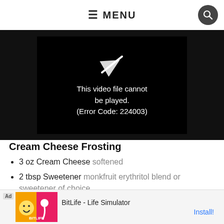≡ MENU
[Figure (screenshot): Video player showing error: 'This video file cannot be played. (Error Code: 224003)' with a broken video icon on black background. A close (X) button is visible at top left.]
Cream Cheese Frosting
3 oz Cream Cheese softened
2 tbsp Sweetener monkfruit erythritol blend or sweetener of choice
1/4 tsp Vanilla Extract
[Figure (screenshot): Ad banner: 'Ad' label, BitLife Life Simulator app icon with yellow smiley and sperm logo on orange/red background, text 'BitLife - Life Simulator', and 'Install!' link in blue.]